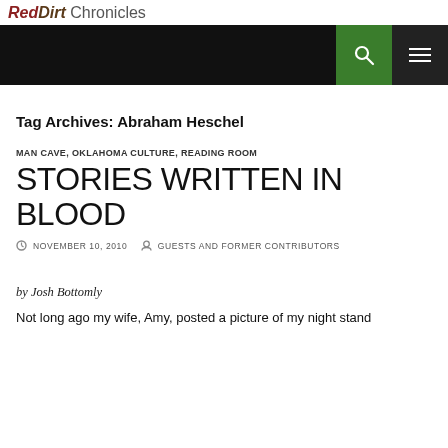RedDirt Chronicles
[Figure (screenshot): Navigation bar with black background, green search button and dark menu button with hamburger icon]
Tag Archives: Abraham Heschel
MAN CAVE, OKLAHOMA CULTURE, READING ROOM
STORIES WRITTEN IN BLOOD
NOVEMBER 10, 2010   GUESTS AND FORMER CONTRIBUTORS
by Josh Bottomly
Not long ago my wife, Amy, posted a picture of my night stand